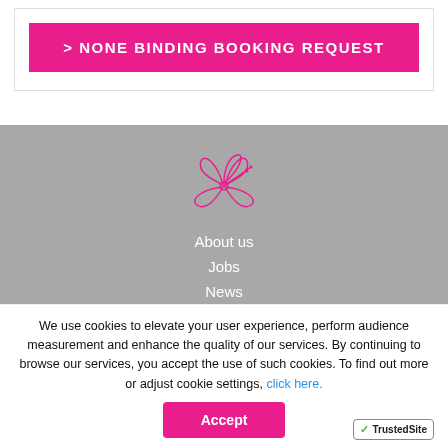> NONE BINDING BOOKING REQUEST
[Figure (logo): Pink hibiscus flower line drawing logo]
About us
Jobs
News
Contact Us (partially visible)
We use cookies to elevate your user experience, perform audience measurement and enhance the quality of our services. By continuing to browse our services, you accept the use of such cookies. To find out more or adjust cookie settings, click here.
Accept
[Figure (logo): TrustedSite badge with green checkmark]